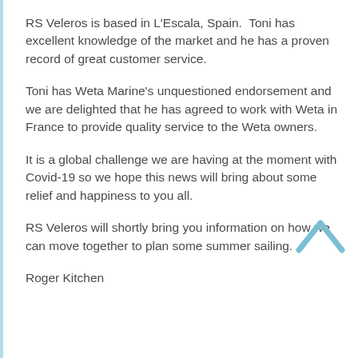RS Veleros is based in L'Escala, Spain.  Toni has excellent knowledge of the market and he has a proven record of great customer service.
Toni has Weta Marine's unquestioned endorsement and we are delighted that he has agreed to work with Weta in France to provide quality service to the Weta owners.
It is a global challenge we are having at the moment with Covid-19 so we hope this news will bring about some relief and happiness to you all.
RS Veleros will shortly bring you information on how we can move together to plan some summer sailing.
Roger Kitchen